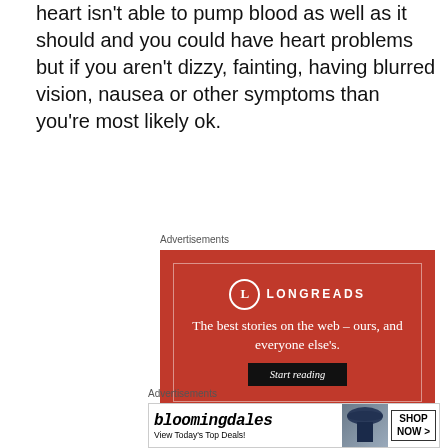heart isn't able to pump blood as well as it should and you could have heart problems but if you aren't dizzy, fainting, having blurred vision, nausea or other symptoms than you're most likely ok.
Advertisements
[Figure (other): Longreads advertisement: red background with Longreads logo, text 'The best stories on the web – ours, and everyone else's.' and 'Start reading' button]
Advertisements
[Figure (other): Bloomingdales advertisement: 'bloomingdales View Today's Top Deals!' with woman in hat and 'SHOP NOW >' button]